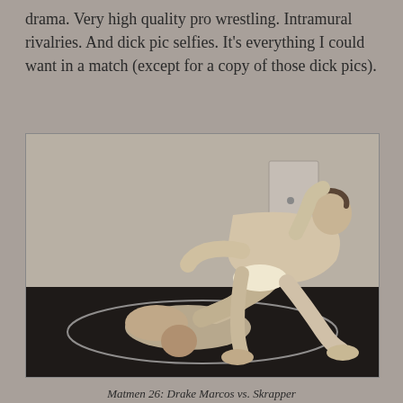drama. Very high quality pro wrestling. Intramural rivalries. And dick pic selfies. It's everything I could want in a match (except for a copy of those dick pics).
[Figure (photo): Two wrestlers grappling on a dark mat in an indoor room. One wrestler has the other pinned in a submission hold. Watermark reads '©2016 BGEAST.COM' in white bold text at top left.]
Matmen 26: Drake Marcos vs. Skrapper